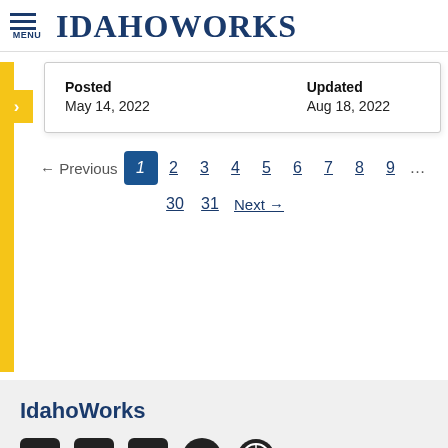IdahoWorks
Posted: May 14, 2022 | Updated: Aug 18, 2022
← Previous 1 2 3 4 5 6 7 8 9 … 30 31 Next →
IdahoWorks
[Figure (other): Social media icons: Facebook, LinkedIn, YouTube, Twitter, WordPress]